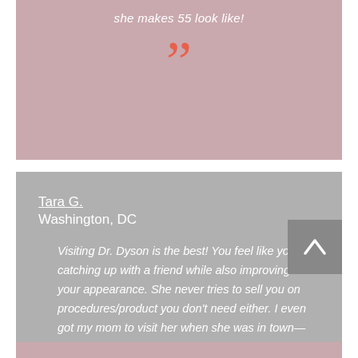she makes 55 look like!
”
Tara G.
Washington, DC
Visiting Dr. Dyson is the best! You feel like you're catching up with a friend while also improving your appearance. She never tries to sell you on procedures/product you don't need either. I even got my mom to visit her when she was in town— she's now hooked!
”